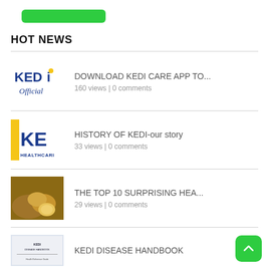[Figure (other): Green button at top]
HOT NEWS
[Figure (logo): KEDI Official logo]
DOWNLOAD KEDI CARE APP TO...
160 views | 0 comments
[Figure (logo): KEDI Healthcare logo with yellow bar]
HISTORY OF KEDI-our story
33 views | 0 comments
[Figure (photo): Ginger root photo]
THE TOP 10 SURPRISING HEA...
29 views | 0 comments
[Figure (photo): KEDI Disease Handbook cover thumbnail]
KEDI DISEASE HANDBOOK